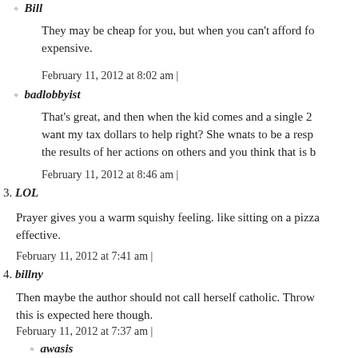Bill
They may be cheap for you, but when you can't afford fo expensive.
February 11, 2012 at 8:02 am |
badlobbyist
That's great, and then when the kid comes and a single 2 want my tax dollars to help right? She wnats to be a resp the results of her actions on others and you think that is b
February 11, 2012 at 8:46 am |
3. LOL
Prayer gives you a warm squishy feeling. like sitting on a pizza effective.
February 11, 2012 at 7:41 am |
4. billny
Then maybe the author should not call herself catholic. Throw this is expected here though.
February 11, 2012 at 7:37 am |
awasis